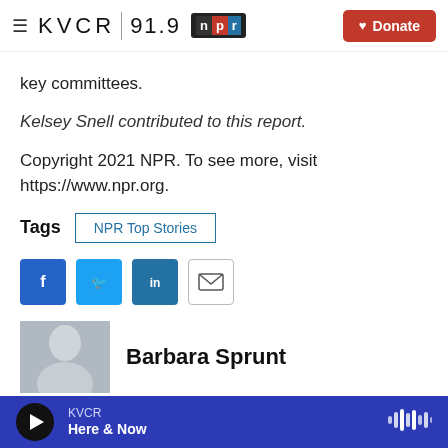KVCR 91.9 NPR | Donate
key committees.
Kelsey Snell contributed to this report.
Copyright 2021 NPR. To see more, visit https://www.npr.org.
Tags  NPR Top Stories
[Figure (infographic): Social share buttons: Facebook, Twitter, LinkedIn, Email]
[Figure (photo): Author photo of Barbara Sprunt, partially visible]
Barbara Sprunt
KVCR  Here & Now